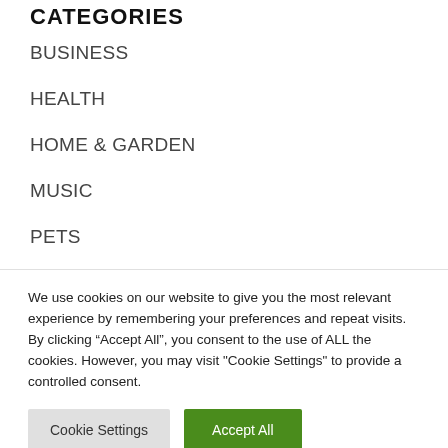CATEGORIES
BUSINESS
HEALTH
HOME & GARDEN
MUSIC
PETS
SHOPPING
We use cookies on our website to give you the most relevant experience by remembering your preferences and repeat visits. By clicking “Accept All”, you consent to the use of ALL the cookies. However, you may visit "Cookie Settings" to provide a controlled consent.
Cookie Settings | Accept All